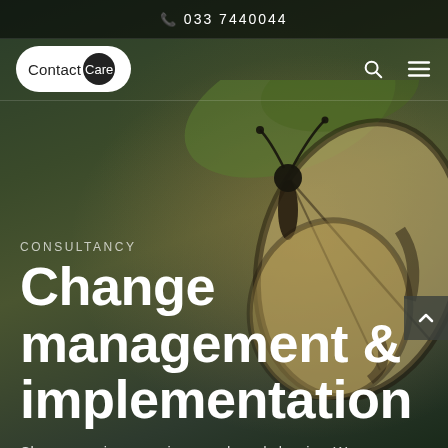033 7440044
[Figure (logo): Contact Care logo - white pill shape with 'Contact' text and 'Care' in dark circle]
[Figure (photo): Close-up photo of a butterfly (pale/cream and black wings) clinging to a plant, dark green blurred background]
CONSULTANCY
Change management & implementation
Change requires experience and good planning. We assist organisations in defining and achieving their